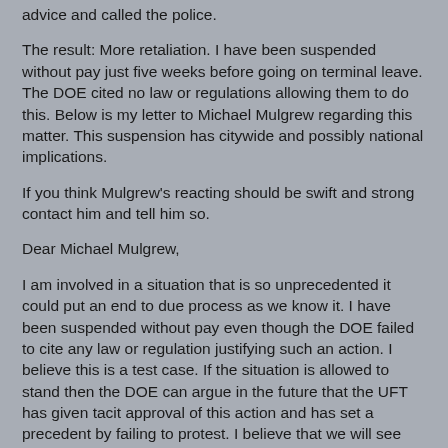advice and called the police.
The result: More retaliation. I have been suspended without pay just five weeks before going on terminal leave. The DOE cited no law or regulations allowing them to do this. Below is my letter to Michael Mulgrew regarding this matter. This suspension has citywide and possibly national implications.
If you think Mulgrew's reacting should be swift and strong contact him and tell him so.
Dear Michael Mulgrew,
I am involved in a situation that is so unprecedented it could put an end to due process as we know it. I have been suspended without pay even though the DOE failed to cite any law or regulation justifying such an action. I believe this is a test case. If the situation is allowed to stand then the DOE can argue in the future that the UFT has given tacit approval of this action and has set a precedent by failing to protest. I believe that we will see the 3020a process replaced by blanket, open-ended, unpaid suspensions.